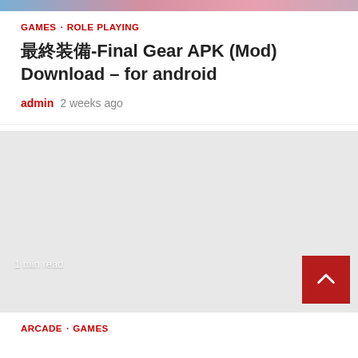[Figure (photo): Top banner image showing anime-style game characters in blue, pink, and purple tones]
GAMES · ROLE PLAYING
最終装備-Final Gear APK (Mod) Download – for android
admin  2 weeks ago
[Figure (other): Gray placeholder/ad block area with '1 min read' label at bottom left and a red scroll-to-top button at bottom right]
ARCADE · GAMES